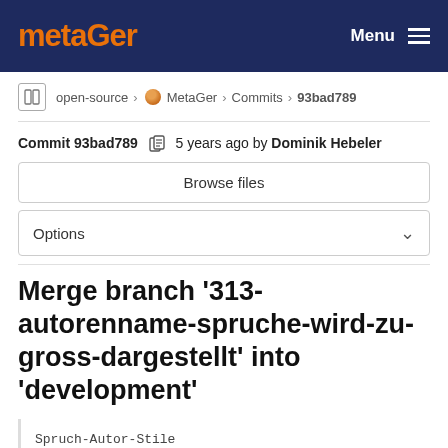metaGer   Menu
open-source > MetaGer > Commits > 93bad789
Commit 93bad789  5 years ago by Dominik Hebeler
Browse files
Options
Merge branch '313-autorenname-spruche-wird-zu-gross-dargestellt' into 'development'
Spruch-Autor-Stile

Closes #313

See merge request !502